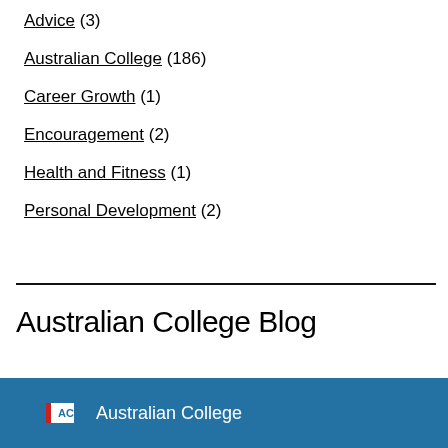Advice (3)
Australian College (186)
Career Growth (1)
Encouragement (2)
Health and Fitness (1)
Personal Development (2)
Australian College Blog
[Figure (logo): Australian College logo with AC initials in blue and red on white background, white text on blue footer bar]